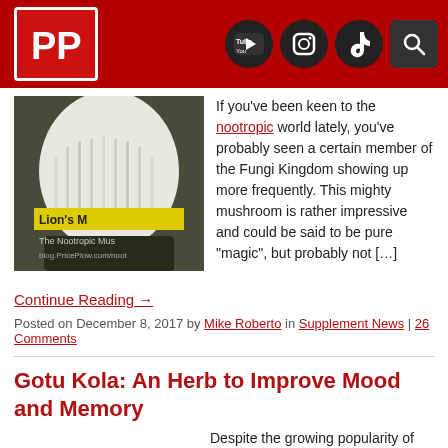PricePlow blog header with logo and social icons (YouTube, Instagram, TikTok, Search)
[Figure (photo): Lion's Mane mushroom photo with text overlay: "Lion's M... The Nootropic Mus... blog.PricePlow.com/noot..."]
If you've been keen to the nootropic world lately, you've probably seen a certain member of the Fungi Kingdom showing up more frequently. This mighty mushroom is rather impressive and could be said to be pure “magic”, but probably not […]
Continue Reading →
Posted on December 8, 2017 by Mike Roberto in Supplement News | 26 Comments
Gotu Kola: An Herb to Improve Mood and Memory
Despite the growing popularity of nootropics this past decade, some of them have been around for thousands of years. One of them is the age-old plant,